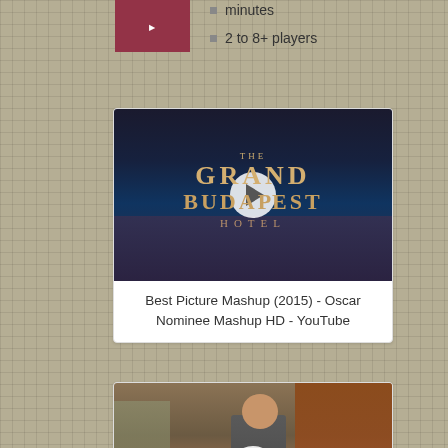minutes
2 to 8+ players
[Figure (screenshot): Small thumbnail image at top left]
[Figure (screenshot): Video thumbnail for The Grand Budapest Hotel - Best Picture Mashup (2015) - Oscar Nominee Mashup HD - YouTube, with play button overlay]
Best Picture Mashup (2015) - Oscar Nominee Mashup HD - YouTube
[Figure (screenshot): Video thumbnail for Best Picture Mashup - (2015) Oscar, showing a man on a city street, with play button overlay]
Best Picture Mashup - (2015) Oscar